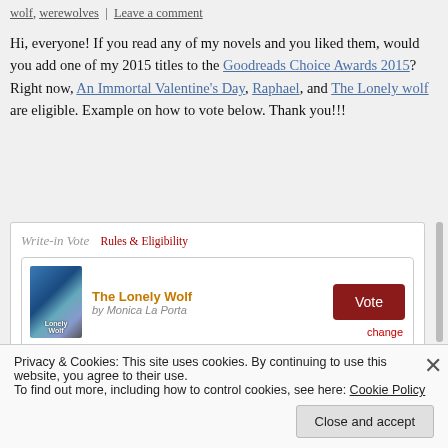wolf, werewolves | Leave a comment
Hi, everyone! If you read any of my novels and you liked them, would you add one of my 2015 titles to the Goodreads Choice Awards 2015? Right now, An Immortal Valentine's Day, Raphael, and The Lonely wolf are eligible. Example on how to vote below. Thank you!!!
[Figure (screenshot): Goodreads Write-in Vote widget showing 'The Lonely Wolf by Monica La Porta' with a red Vote button and a 'change' link]
Privacy & Cookies: This site uses cookies. By continuing to use this website, you agree to their use.
To find out more, including how to control cookies, see here: Cookie Policy